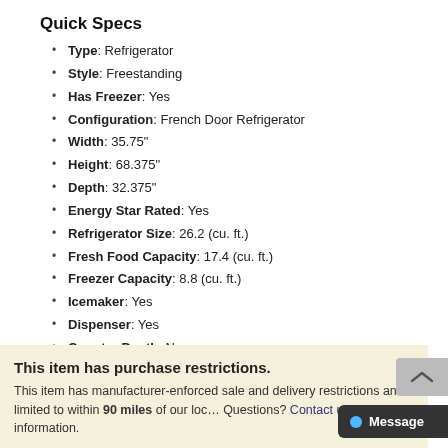Quick Specs
Type: Refrigerator
Style: Freestanding
Has Freezer: Yes
Configuration: French Door Refrigerator
Width: 35.75"
Height: 68.375"
Depth: 32.375"
Energy Star Rated: Yes
Refrigerator Size: 26.2 (cu. ft.)
Fresh Food Capacity: 17.4 (cu. ft.)
Freezer Capacity: 8.8 (cu. ft.)
Icemaker: Yes
Dispenser: Yes
Counter Depth: No
Sabbath Mode: Yes
WiFi Connected: Yes
See More
This item has purchase restrictions. This item has manufacturer-enforced sale and delivery restrictions and is limited to within 90 miles of our loc... Questions? Contact us for more information.